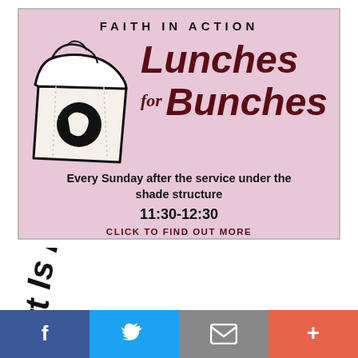[Figure (infographic): Faith in Action Lunches for Bunches flyer on pink background with paper bag illustration. Text: FAITH IN ACTION, Lunches for Bunches, Every Sunday after the service under the shade structure, 11:30-12:30, CLICK TO FIND OUT MORE]
[Figure (illustration): Curved text reading 'rt Is In The Mo...' (partial circular text, likely 'Art Is In The Mo...' cut off at bottom)]
[Figure (infographic): Social media share bar with Facebook, Twitter, Email, and More (+) buttons]